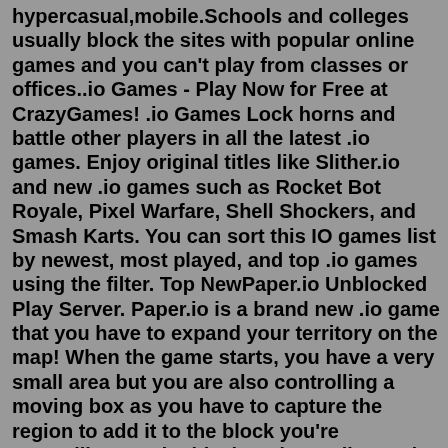hypercasual,mobile.Schools and colleges usually block the sites with popular online games and you can't play from classes or offices..io Games - Play Now for Free at CrazyGames! .io Games Lock horns and battle other players in all the latest .io games. Enjoy original titles like Slither.io and new .io games such as Rocket Bot Royale, Pixel Warfare, Shell Shockers, and Smash Karts. You can sort this IO games list by newest, most played, and top .io games using the filter. Top NewPaper.io Unblocked Play Server. Paper.io is a brand new .io game that you have to expand your territory on the map! When the game starts, you have a very small area but you are also controlling a moving box as you have to capture the region to add it to the block you're controlling. To do this, just draw a line and connect it back to your area ...However, while doing this, you must constantly examine the entire map and protect yourself from enemy attacks. Basics of Diep io Game Here are the basics of the Diep.io game for fun and online free game lovers! 1.